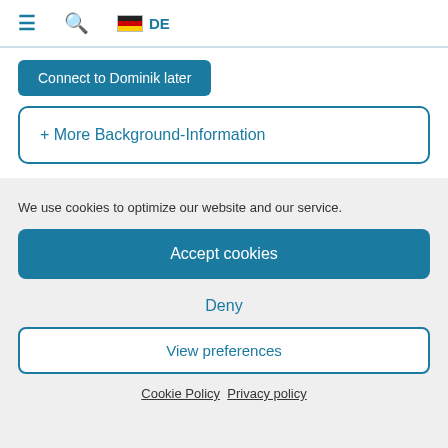≡  🔍  🇩🇪 DE
Connect to Dominik later
+ More Background-Information
We use cookies to optimize our website and our service.
Accept cookies
Deny
View preferences
Cookie Policy   Privacy policy